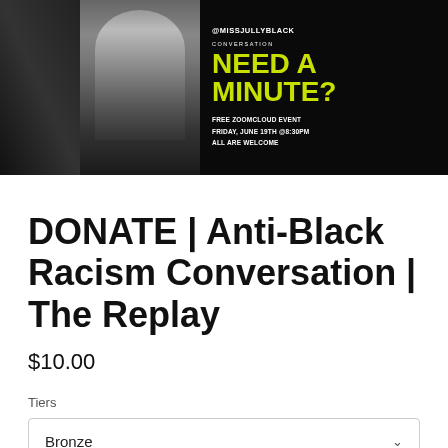[Figure (photo): Promotional banner image for Anti-Black Racism Conversation event featuring @MISSJULLYBLACK. Black and white photo of a person. Text on right side reads: NEED A MINUTE? FREE ZOOMCLOUD EVENT, FRIDAY, JUNE 19TH @8:30PM, ALL ARE WELCOME]
DONATE | Anti-Black Racism Conversation | The Replay
$10.00
Tiers
Bronze